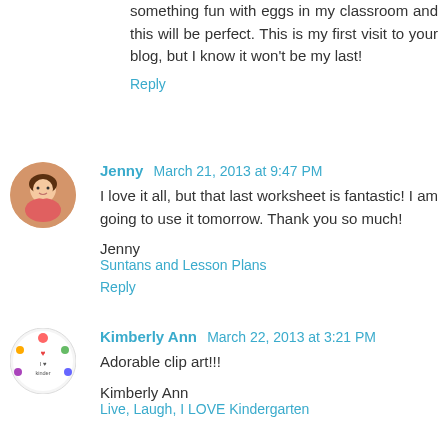something fun with eggs in my classroom and this will be perfect. This is my first visit to your blog, but I know it won't be my last!
Reply
Jenny  March 21, 2013 at 9:47 PM
I love it all, but that last worksheet is fantastic! I am going to use it tomorrow. Thank you so much!
Jenny
Suntans and Lesson Plans
Reply
Kimberly Ann  March 22, 2013 at 3:21 PM
Adorable clip art!!!
Kimberly Ann
Live, Laugh, I LOVE Kindergarten